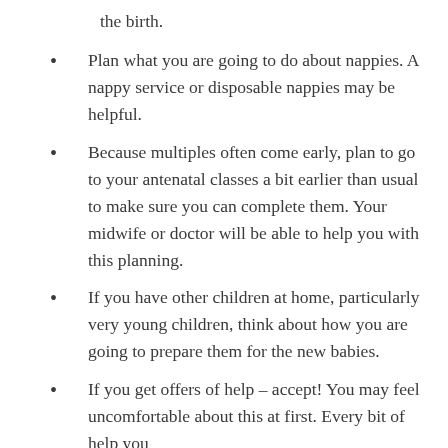the birth.
Plan what you are going to do about nappies. A nappy service or disposable nappies may be helpful.
Because multiples often come early, plan to go to your antenatal classes a bit earlier than usual to make sure you can complete them. Your midwife or doctor will be able to help you with this planning.
If you have other children at home, particularly very young children, think about how you are going to prepare them for the new babies.
If you get offers of help – accept! You may feel uncomfortable about this at first. Every bit of help you